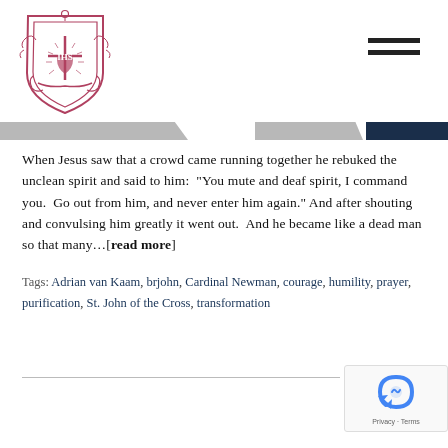[Figure (logo): Jesuit shield crest logo with IHS sacred heart in red/maroon tones]
When Jesus saw that a crowd came running together he rebuked the unclean spirit and said to him: “You mute and deaf spirit, I command you. Go out from him, and never enter him again.” And after shouting and convulsing him greatly it went out. And he became like a dead man so that many…[read more]
Tags: Adrian van Kaam, brjohn, Cardinal Newman, courage, humility, prayer, purification, St. John of the Cross, transformation